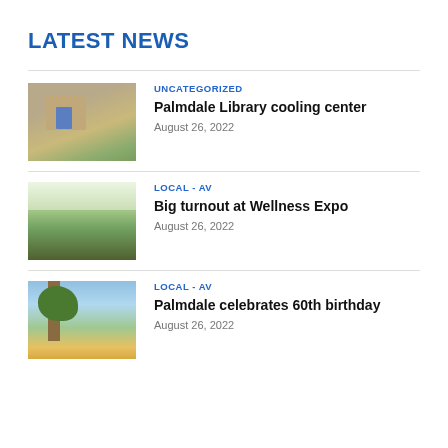LATEST NEWS
[Figure (photo): Palmdale City Library building exterior, desert landscaping]
UNCATEGORIZED
Palmdale Library cooling center
August 26, 2022
[Figure (photo): Crowd of people at outdoor Wellness Expo under canopy]
LOCAL - AV
Big turnout at Wellness Expo
August 26, 2022
[Figure (photo): Joshua tree with blue sky and yellow desert flowers]
LOCAL - AV
Palmdale celebrates 60th birthday
August 26, 2022